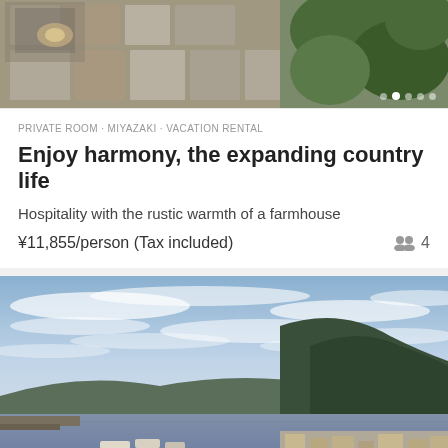[Figure (photo): Aerial view of a building with stone pavement and vegetation, viewed from above]
PRIVATE ROOM · MIYAZAKI · VACATION RENTAL
Enjoy harmony, the expanding country life
Hospitality with the rustic warmth of a farmhouse
¥11,855/person (Tax included)  👥 4
[Figure (photo): Scenic coastal harbor with mountains, boats, and cloudy sky in Japan]